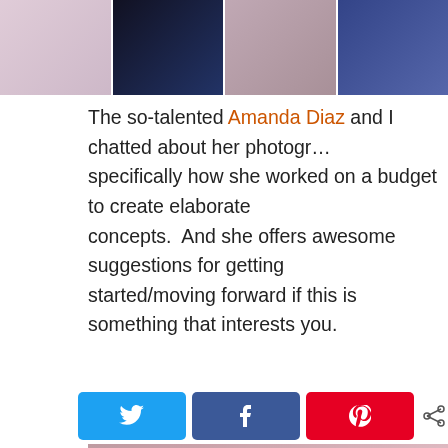[Figure (photo): Horizontal strip of fashion/portrait photography images showing women in elaborate outfits]
The so-talented Amanda Diaz and I chatted about her photography, specifically how she worked on a budget to create elaborate concepts.  And she offers awesome suggestions for getting started/moving forward if this is something that interests you.
[Figure (screenshot): YouTube video thumbnail for 'Conceptual Portrait Photography with Amanda Diaz' showing a young woman in a pink tutu dress with a YouTube play button overlay]
[Figure (other): Social share buttons row: Twitter (blue), Facebook (dark blue), Pinterest (red), and a share icon]